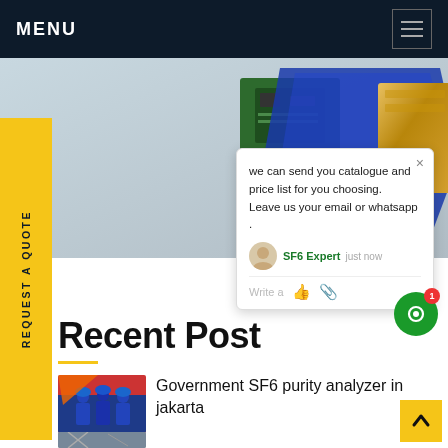MENU
[Figure (photo): Close-up photo of an electronic/engineering component with blue plastic housing, gold-colored metal casing, and green circuit board]
we can send you catalogue and price list for you choosing. Leave us your email or whatsapp .
SF6 Expert   just now
Write a
REQUEST A QUOTE
Recent Post
Government SF6 purity analyzer in jakarta
[Figure (photo): Workers in blue hard hats and safety gear at an industrial site]
[Figure (photo): Industrial equipment or machinery photo thumbnail]